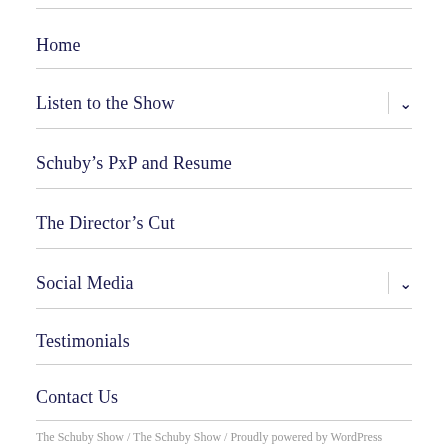Home
Listen to the Show
Schuby's PxP and Resume
The Director's Cut
Social Media
Testimonials
Contact Us
The Schuby Show / The Schuby Show / Proudly powered by WordPress